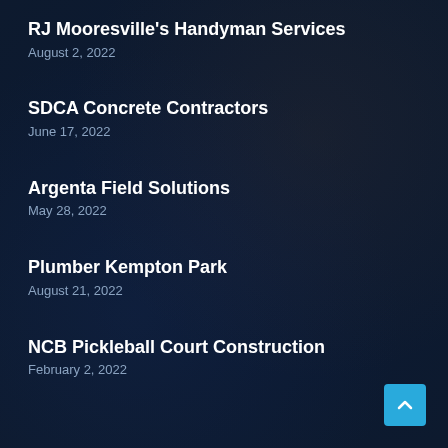RJ Mooresville's Handyman Services
August 2, 2022
SDCA Concrete Contractors
June 17, 2022
Argenta Field Solutions
May 28, 2022
Plumber Kempton Park
August 21, 2022
NCB Pickleball Court Construction
February 2, 2022